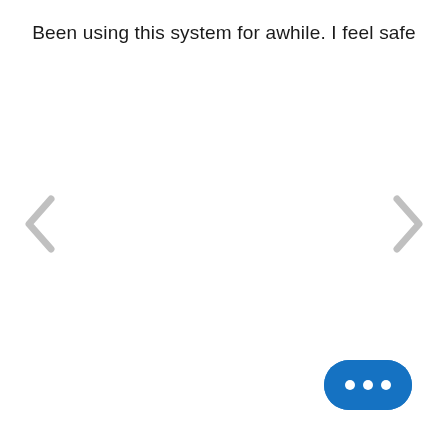Been using this system for awhile. I feel safe
[Figure (other): Left arrow navigation chevron in light gray]
[Figure (other): Right arrow navigation chevron in light gray]
[Figure (other): Blue rounded pill-shaped chat button with three white dots (ellipsis)]